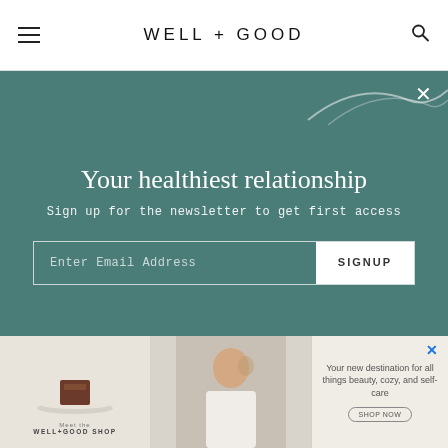WELL+GOOD
[Figure (screenshot): Newsletter signup modal overlay on teal background with decorative abstract shapes. Title: 'Your healthiest relationship'. Subtitle: 'Sign up for the newsletter to get first access'. Email input field with SIGNUP button.]
says. Having female-lead investors was “really important, and we weren’t going to settle on that,” she says. They finally found and went with female-founded VC fund Hannah Grey, which led their nearly
[Figure (screenshot): Advertisement banner for Well+Good Shop showing product image on left, woman photo in center, and text 'Your new destination for all things beauty, cozy, and self-care' with a shop now button on right. Meet the WELL+GOOD SHOP branding.]